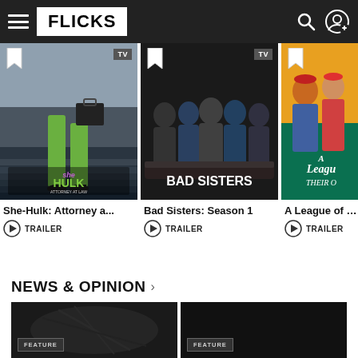FLICKS
[Figure (screenshot): She-Hulk: Attorney at Law TV show poster - She-Hulk in green legs and heels carrying a briefcase on steps, with Marvel Studios logo and Disney+ branding]
[Figure (screenshot): Bad Sisters Season 1 TV show poster - group of women sitting together on a dark background with the title 'BAD SISTERS' in large white text]
[Figure (screenshot): A League of Their Own show poster - colorful poster with women baseball players, teal/green background, title partially visible]
She-Hulk: Attorney a...
Bad Sisters: Season 1
A League of The
TRAILER
TRAILER
TRAILER
NEWS & OPINION
[Figure (photo): Feature article thumbnail - dark image, appears to show feathers or natural texture]
[Figure (photo): Feature article thumbnail - very dark/black image]